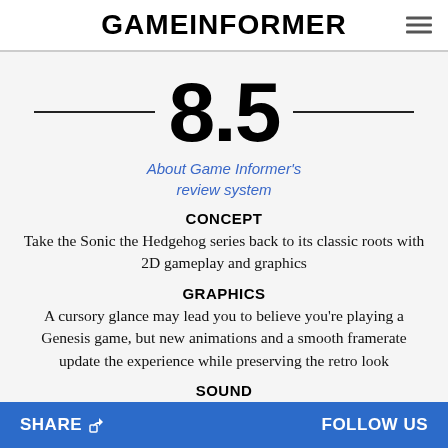GAMEINFORMER
8.5
About Game Informer's review system
CONCEPT
Take the Sonic the Hedgehog series back to its classic roots with 2D gameplay and graphics
GRAPHICS
A cursory glance may lead you to believe you're playing a Genesis game, but new animations and a smooth framerate update the experience while preserving the retro look
SOUND
While new songs capture the retro Sonic feel, the remixed
SHARE   FOLLOW US